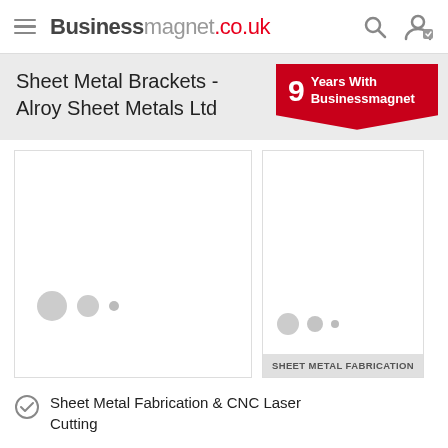Businessmagnet.co.uk
Sheet Metal Brackets - Alroy Sheet Metals Ltd
[Figure (infographic): Red ribbon badge showing '9 Years With Businessmagnet']
[Figure (photo): Large placeholder image (main product image for sheet metal brackets)]
[Figure (photo): Smaller placeholder image with label 'SHEET METAL FABRICATION']
Sheet Metal Fabrication & CNC Laser Cutting